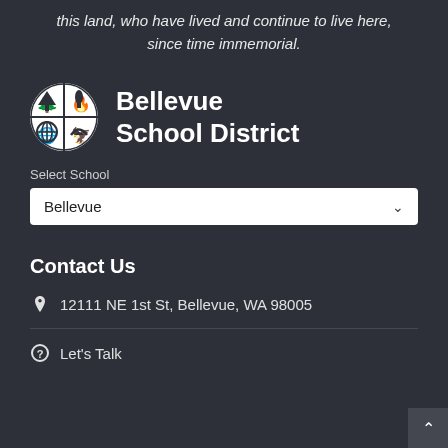this land, who have lived and continue to live here, since time immemorial.
[Figure (logo): Bellevue School District circular logo with four quadrants: tree, torch, globe, and bird]
Bellevue School District
Select School
Bellevue
Contact Us
12111 NE 1st St, Bellevue, WA 98005
Let's Talk